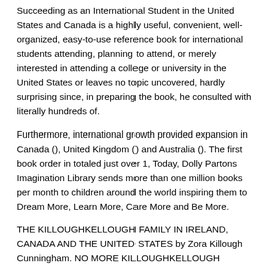Succeeding as an International Student in the United States and Canada is a highly useful, convenient, well-organized, easy-to-use reference book for international students attending, planning to attend, or merely interested in attending a college or university in the United States or leaves no topic uncovered, hardly surprising since, in preparing the book, he consulted with literally hundreds of.
Furthermore, international growth provided expansion in Canada (), United Kingdom () and Australia (). The first book order in totaled just over 1, Today, Dolly Partons Imagination Library sends more than one million books per month to children around the world inspiring them to Dream More, Learn More, Care More and Be More.
THE KILLOUGHKELLOUGH FAMILY IN IRELAND, CANADA AND THE UNITED STATES by Zora Killough Cunningham. NO MORE KILLOUGHKELLOUGH FAMILY BOOKS FOR SALE All five hundred books published in have been sold or given to libraries all over the United States.
Future generations will enjoy learning so much about their family history. The most user-friendly Rattlesnake book around. Reviewed in